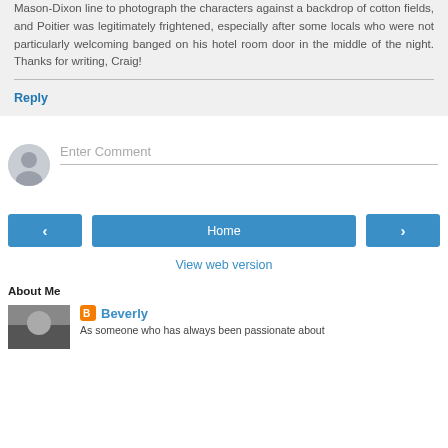Mason-Dixon line to photograph the characters against a backdrop of cotton fields, and Poitier was legitimately frightened, especially after some locals who were not particularly welcoming banged on his hotel room door in the middle of the night. Thanks for writing, Craig!
Reply
Enter Comment
Home
View web version
About Me
Beverly
As someone who has always been passionate about